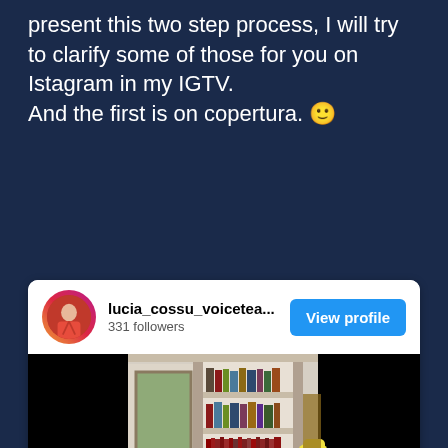present this two step process, I will try to clarify some of those for you on Istagram in my IGTV.
And the first is on copertura. 🙂
[Figure (screenshot): Instagram profile card for lucia_cossu_voicetea... with 331 followers and a View profile button, followed by a video screenshot showing a bookshelf with books and a person wearing yellow gloves]